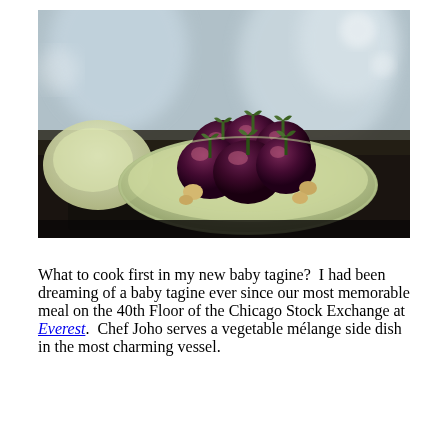[Figure (photo): A bowl of small baby eggplants (aubergines) with green stems, accompanied by some nuts, sitting on a dark wooden surface with glass vessels blurred in the background.]
What to cook first in my new baby tagine? I had been dreaming of a baby tagine ever since our most memorable meal on the 40th Floor of the Chicago Stock Exchange at Everest. Chef Joho serves a vegetable mélange side dish in the most charming vessel.